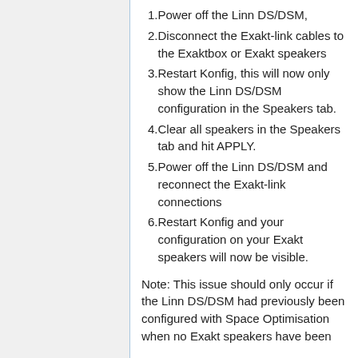1. Power off the Linn DS/DSM,
2. Disconnect the Exakt-link cables to the Exaktbox or Exakt speakers
3. Restart Konfig, this will now only show the Linn DS/DSM configuration in the Speakers tab.
4. Clear all speakers in the Speakers tab and hit APPLY.
5. Power off the Linn DS/DSM and reconnect the Exakt-link connections
6. Restart Konfig and your configuration on your Exakt speakers will now be visible.
Note: This issue should only occur if the Linn DS/DSM had previously been configured with Space Optimisation when no Exakt speakers have been